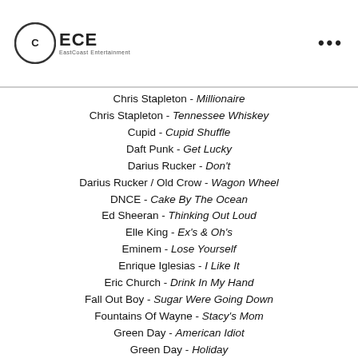ECE EastCoast Entertainment
Chris Stapleton - Millionaire
Chris Stapleton - Tennessee Whiskey
Cupid - Cupid Shuffle
Daft Punk - Get Lucky
Darius Rucker - Don't
Darius Rucker / Old Crow - Wagon Wheel
DNCE - Cake By The Ocean
Ed Sheeran - Thinking Out Loud
Elle King - Ex's & Oh's
Eminem - Lose Yourself
Enrique Iglesias - I Like It
Eric Church - Drink In My Hand
Fall Out Boy - Sugar Were Going Down
Fountains Of Wayne - Stacy's Mom
Green Day - American Idiot
Green Day - Holiday
Gwen Stefani - Hollaback Girl
Icona Pop - I Love It
Imagine Dragons - Radioactive
Jason Derulo - Want To Want Me
Jay Z / Alicia Keys - Empire State Of Mind